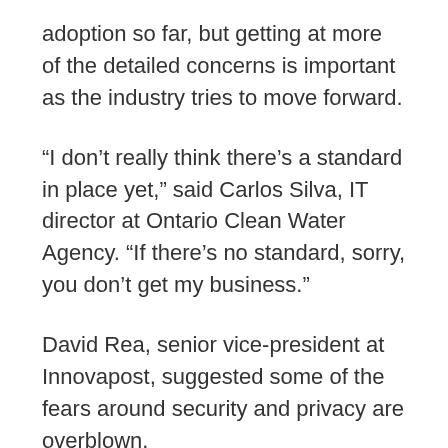adoption so far, but getting at more of the detailed concerns is important as the industry tries to move forward.
“I don’t really think there’s a standard in place yet,” said Carlos Silva, IT director at Ontario Clean Water Agency. “If there’s no standard, sorry, you don’t get my business.”
David Rea, senior vice-president at Innovapost, suggested some of the fears around security and privacy are overblown.
“Because so many of the cloud providers are in the